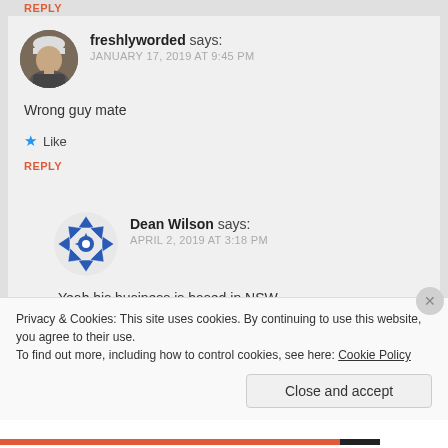REPLY
freshlyworded says:
JANUARY 17, 2019 AT 9:45 PM
Wrong guy mate
★ Like
REPLY
Dean Wilson says:
APRIL 2, 2019 AT 3:18 PM
Yeah his business is based in NSW
according to the CO lookup. This is an
Privacy & Cookies: This site uses cookies. By continuing to use this website, you agree to their use.
To find out more, including how to control cookies, see here: Cookie Policy
Close and accept